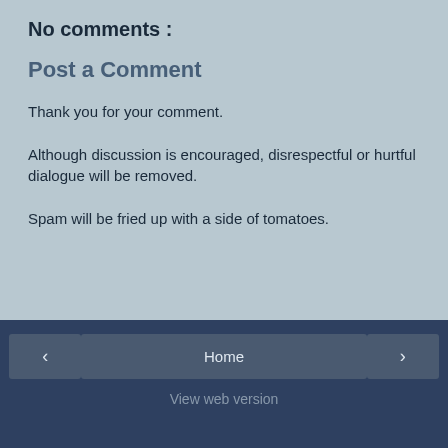No comments :
Post a Comment
Thank you for your comment.
Although discussion is encouraged, disrespectful or hurtful dialogue will be removed.
Spam will be fried up with a side of tomatoes.
‹
Home
›
View web version
About Me
[Figure (photo): Profile photo of a person with blue/purple hair covering part of their face]
Psychojenic
Canada
MH RN, Mom of 3; a boy and boy-girl twins, one with Downs Syndrome, as the glue that holds off